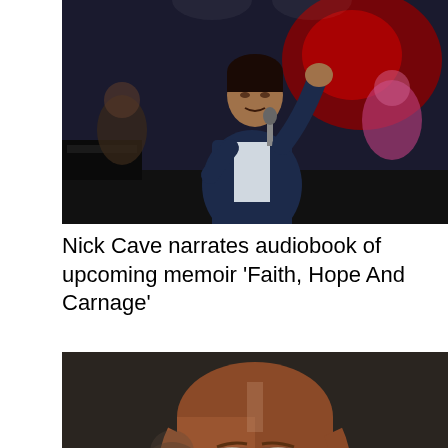[Figure (photo): A male performer on stage holding a microphone, singing with arm raised, wearing a dark suit. Background shows a red-lit stage with other performers visible.]
Nick Cave narrates audiobook of upcoming memoir ‘Faith, Hope And Carnage’
[Figure (photo): Close-up portrait of a woman with reddish-brown shoulder-length hair and glasses, looking at the camera against a dark background.]